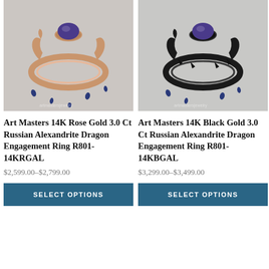[Figure (photo): Rose gold dragon engagement ring with alexandrite gemstone, displayed against light gray background with scattered blue gemstones]
Art Masters 14K Rose Gold 3.0 Ct Russian Alexandrite Dragon Engagement Ring R801-14KRGAL
$2,599.00–$2,799.00
SELECT OPTIONS
[Figure (photo): Black gold dragon engagement ring with alexandrite gemstone, displayed against light gray background with scattered blue gemstones]
Art Masters 14K Black Gold 3.0 Ct Russian Alexandrite Dragon Engagement Ring R801-14KBGAL
$3,299.00–$3,499.00
SELECT OPTIONS